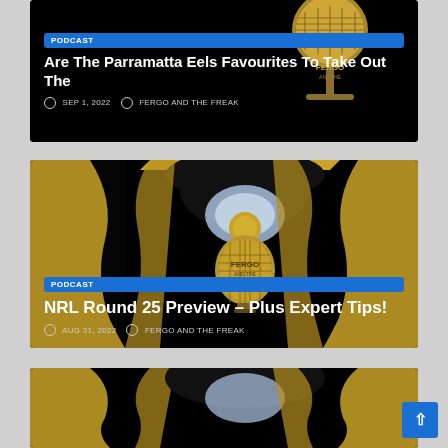[Figure (screenshot): Podcast card 1: Black background with gold microphone image on the right. Badge labeled PODCAST, title 'Are The Parramatta Eels Favourites To Take Out The', date SEP 1, 2022, author FERGO AND THE FREAK]
[Figure (screenshot): Podcast card 2: Black background with gold microphone and gold trophy/medal image. Badge labeled PODCAST, title 'NRL Round 25 Preview – Plus Expert Tips!', date AUG 31, 2022, author FERGO AND THE FREAK]
[Figure (screenshot): Podcast card 3 (partial): Black background with gold trophy/medal image, partially visible at bottom of page]